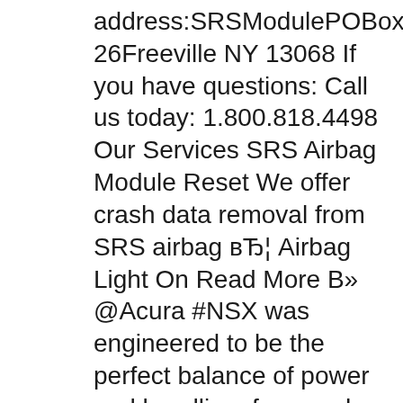address:SRSModulePOBox 26Freeville NY 13068 If you have questions: Call us today: 1.800.818.4498 Our Services SRS Airbag Module Reset We offer crash data removal from SRS airbag вЂ¦ Airbag Light On Read More В» @Acura #NSX was engineered to be the perfect balance of power and handling, form and function, sport and luxury. World's first automotive application. Corrosion Pre-Treatment. Zirconium pre-treat material; Environmentally friendly. Acura Satellite-Linked Navigation Systemв„ў 10 with Voice Recognition and Honda HD Digital Traffic.
Feb 03, 2010В В· This video will show you how to diagnose the Honda